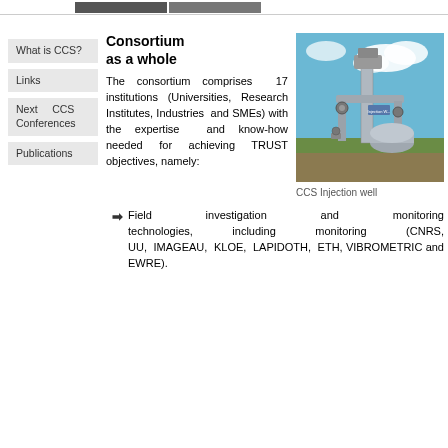[navigation bar with buttons]
What is CCS?
Links
Next CCS Conferences
Publications
Consortium as a whole
[Figure (photo): CCS Injection well — industrial gas injection wellhead equipment with pipes and valves against a blue sky background]
CCS Injection well
The consortium comprises 17 institutions (Universities, Research Institutes, Industries and SMEs) with the expertise and know-how needed for achieving TRUST objectives, namely:
Field investigation and monitoring technologies, including monitoring (CNRS, UU, IMAGEAU, KLOE, LAPIDOTH, ETH, VIBROMETRIC and EWRE).